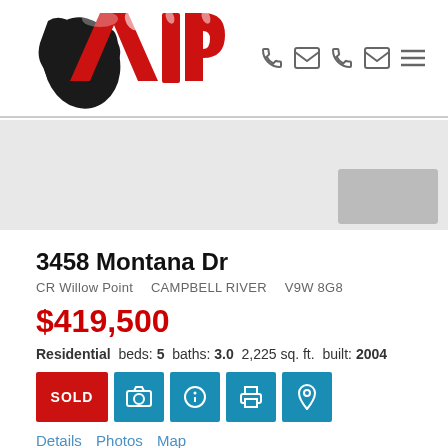[Figure (logo): VIP real estate logo with red stylized letters and black map silhouette of BC, with phone, email, and menu icons]
[Figure (other): Gray banner area with a lighter gray thumbnail placeholder box in bottom right]
3458 Montana Dr
CR Willow Point   CAMPBELL RIVER   V9W 8G8
$419,500
Residential  beds: 5  baths: 3.0  2,225 sq. ft.  built: 2004
SOLD [camera icon] [info icon] [print icon] [map pin icon]
Details  Photos  Map